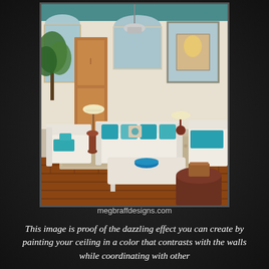[Figure (photo): Interior living room photo showing white sofas with bright turquoise/teal pillows, a white coffee table with a blue bowl, terracotta brick floor, patterned rug, tropical plants, wooden armoire, arched windows, pendant light, large mirror, and a painted ceiling with teal/blue color accents. A dark wooden barrel-shaped side table is visible in the foreground right.]
megbraffdesigns.com
This image is proof of the dazzling effect you can create by painting your ceiling in a color that contrasts with the walls while coordinating with other